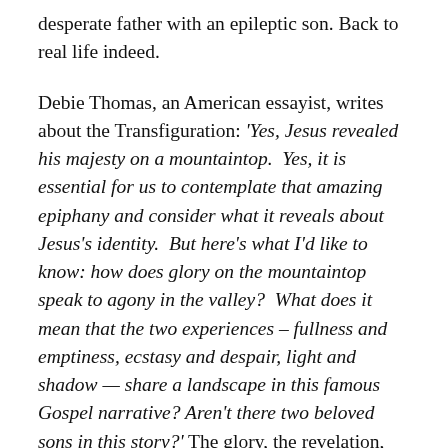desperate father with an epileptic son. Back to real life indeed.
Debie Thomas, an American essayist, writes about the Transfiguration: 'Yes, Jesus revealed his majesty on a mountaintop. Yes, it is essential for us to contemplate that amazing epiphany and consider what it reveals about Jesus's identity. But here's what I'd like to know: how does glory on the mountaintop speak to agony in the valley? What does it mean that the two experiences – fullness and emptiness, ecstasy and despair, light and shadow — share a landscape in this famous Gospel narrative? Aren't there two beloved sons in this story?' The glory, the revelation, the holiness and greatness of Jesus on the mountain-top needs to